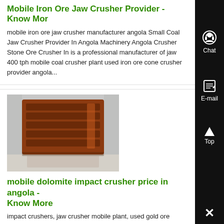Mobile Iron Ore Jaw Crusher Provider - Know More
mobile iron ore jaw crusher manufacturer angola Small Coal Jaw Crusher Provider In Angola Machinery Angola Crusher Stone Ore Crusher In is a professional manufacturer of jaw 400 tph mobile coal crusher plant used iron ore cone crusher provider angola...
[Figure (photo): Photo of a jaw crusher machine, brownish-red colored, viewed from above at an angle, in an industrial setting]
mobile dolomite impact crusher price in angola - Know More
impact crushers, jaw crusher mobile plant, used gold ore impact crusher suppliers angola refpartsinpew series jaw crusher features big crushing ratio, reliable operation, easy maintenance and low operating cost it is the new generation product designed a portable gold ore impact crusher supplier in